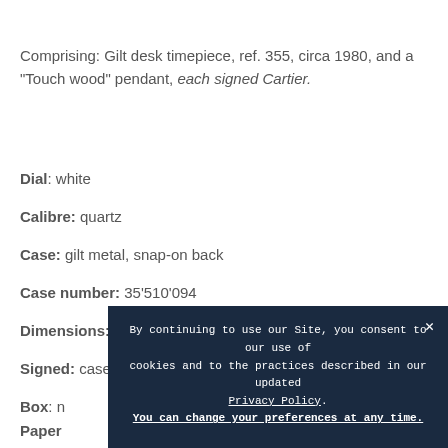Comprising: Gilt desk timepiece, ref. 355, circa 1980, and a "Touch wood" pendant, each signed Cartier.
Dial: white
Calibre: quartz
Case: gilt metal, snap-on back
Case number: 35'510'094
Dimensions: 40 x 63 mm
Signed: case and dial
Box: n[obscured]
Papers: [obscured]
Accessories: [obscured]
By continuing to use our Site, you consent to our use of cookies and to the practices described in our updated Privacy Policy. You can change your preferences at any time.